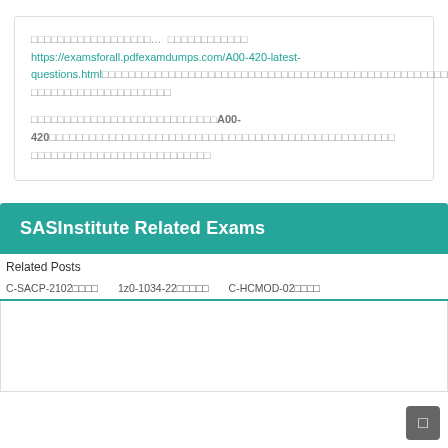□□□□□□□□□□□□□□□□□□… □□□□□□□□□□□□ https://examsforall.pdfexamdumps.com/A00-420-latest-questions.html□□□□□□□□□□□□□□□□□□□□□□□□□□□□□□□□□□□□□□□□□□□□□□□□□□□□□□□□□□□□□□□□□□□□□□□□□□□□□□□□□□
□□□□□□□□□□□□□□□□□□□□□□□□□□□□A00-420□□□□□□□□□□□□□□□□□□□□□□□□□□□□□□□□□□□□□□□□□□□□□□□□□□□□
SASInstitute Related Exams
Related Posts
C-SACP-2102□□□□
1z0-1034-22□□□□□
C-HCMOD-02□□□□